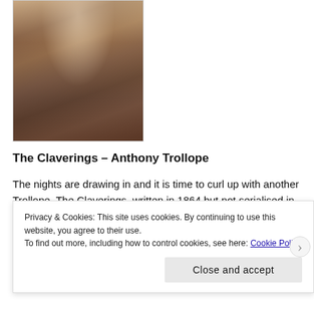[Figure (illustration): Painting of a woman in historical dress with a fur-trimmed white wrap/shawl, holding opera glasses, partial view showing upper body and face]
The Claverings – Anthony Trollope
The nights are drawing in and it is time to curl up with another Trollope. The Claverings, written in 1864 but not serialised in the Cornhill Magazine until 1866 and published in book form
Privacy & Cookies: This site uses cookies. By continuing to use this website, you agree to their use.
To find out more, including how to control cookies, see here: Cookie Policy
Close and accept